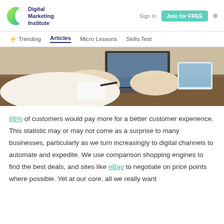Digital Marketing Institute | Sign In | Join for FREE
Trending | Articles | Micro Lessons | Skills Test
[Figure (photo): Person working at a desk with a laptop and tablet, viewed from above, wearing a white shirt]
86% of customers would pay more for a better customer experience. This statistic may or may not come as a surprise to many businesses, particularly as we turn increasingly to digital channels to automate and expedite. We use comparison shopping engines to find the best deals, and sites like eBay to negotiate on price points where possible. Yet at our core, all we really want